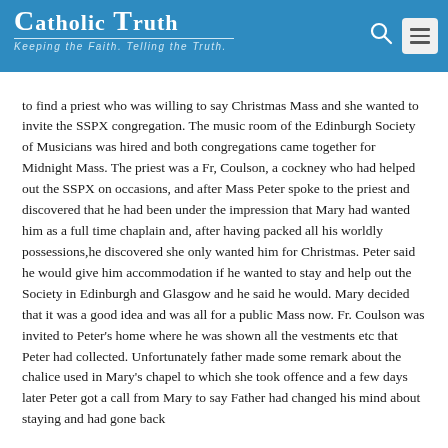CATHOLIC TRUTH — Keeping the Faith. Telling the Truth.
to find a priest who was willing to say Christmas Mass and she wanted to invite the SSPX congregation. The music room of the Edinburgh Society of Musicians was hired and both congregations came together for Midnight Mass. The priest was a Fr, Coulson, a cockney who had helped out the SSPX on occasions, and after Mass Peter spoke to the priest and discovered that he had been under the impression that Mary had wanted him as a full time chaplain and, after having packed all his worldly possessions,he discovered she only wanted him for Christmas. Peter said he would give him accommodation if he wanted to stay and help out the Society in Edinburgh and Glasgow and he said he would. Mary decided that it was a good idea and was all for a public Mass now. Fr. Coulson was invited to Peter's home where he was shown all the vestments etc that Peter had collected. Unfortunately father made some remark about the chalice used in Mary's chapel to which she took offence and a few days later Peter got a call from Mary to say Father had changed his mind about staying and had gone back to London. She had originally decided she was not a good book